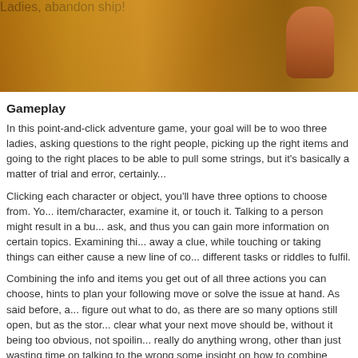[Figure (screenshot): Game screenshot showing a scene with golden/amber tones and the subtitle text 'Ladies, abandon ship!' displayed at the bottom center]
Gameplay
In this point-and-click adventure game, your goal will be to woo three ladies, asking questions to the right people, picking up the right items and going to the right places to be able to pull some strings, but it's basically a matter of trial and error, certainly...
Clicking each character or object, you'll have three options to choose from. You can talk to the item/character, examine it, or touch it. Talking to a person might result in a bunch of topics to ask, and thus you can gain more information on certain topics. Examining things usually gives away a clue, while touching or taking things can either cause a new line of conversation or different tasks or riddles to fulfil.
Combining the info and items you get out of all three actions you can choose, you'll get hints to plan your following move or solve the issue at hand. As said before, at times hard to figure out what to do, as there are so many options still open, but as the story progresses it's clear what your next move should be, without it being too obvious, not spoiling anything. Can't really do anything wrong, other than just wasting time on talking to the wrong people. It gives some insight on how to combine certain things during the riddles, but we're sure you'll figure it out.
[Figure (screenshot): Game screenshot showing a scene with dark green/jungle tones at the bottom of the page]